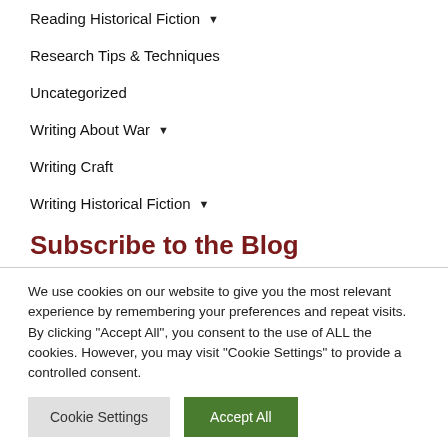Reading Historical Fiction ▼
Research Tips & Techniques
Uncategorized
Writing About War ▼
Writing Craft
Writing Historical Fiction ▼
Subscribe to the Blog
We use cookies on our website to give you the most relevant experience by remembering your preferences and repeat visits. By clicking "Accept All", you consent to the use of ALL the cookies. However, you may visit "Cookie Settings" to provide a controlled consent.